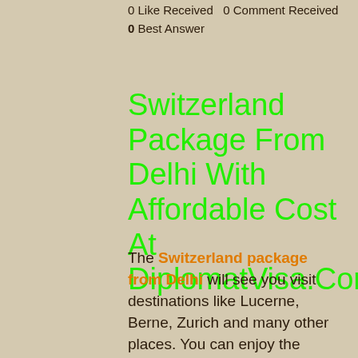0 Like Received   0 Comment Received
0 Best Answer
Switzerland Package From Delhi With Affordable Cost At DiplomatVisa.Com
The Switzerland package from Delhi will see you visit destinations like Lucerne, Berne, Zurich and many other places. You can enjoy the breathtaking scenery of the Swiss Alps and the Rhine valley.
The Swiss Alps are a beautiful sight to behold. The natural beauty is something that is bound to leave you with memories for years to come. The valleys are dotted with quaint villages and townships that boast amazing architecture. This whole region has been designated as a UNESCO World